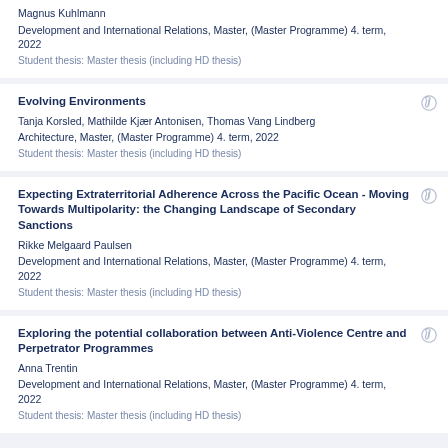Magnus Kuhlmann
Development and International Relations, Master, (Master Programme) 4. term, 2022
Student thesis: Master thesis (including HD thesis)
Evolving Environments
Tanja Korsled, Mathilde Kjær Antonisen, Thomas Vang Lindberg
Architecture, Master, (Master Programme) 4. term, 2022
Student thesis: Master thesis (including HD thesis)
Expecting Extraterritorial Adherence Across the Pacific Ocean - Moving Towards Multipolarity: the Changing Landscape of Secondary Sanctions
Rikke Melgaard Paulsen
Development and International Relations, Master, (Master Programme) 4. term, 2022
Student thesis: Master thesis (including HD thesis)
Exploring the potential collaboration between Anti-Violence Centre and Perpetrator Programmes
Anna Trentin
Development and International Relations, Master, (Master Programme) 4. term, 2022
Student thesis: Master thesis (including HD thesis)